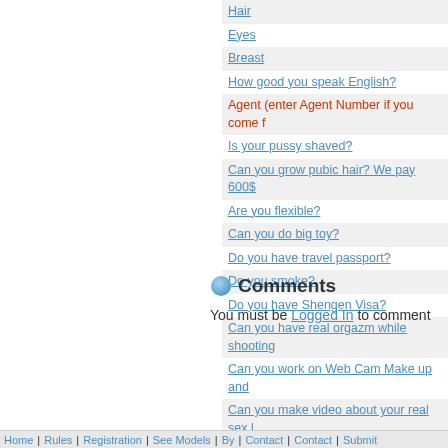| Hair |
| Eyes |
| Breast |
| How good you speak English? |
| Agent (enter Agent Number if you come f... |
| Is your pussy shaved? |
| Can you grow pubic hair? We pay 600$ |
| Are you flexible? |
| Can you do big toy? |
| Do you have travel passport? |
| Do you smoke? |
| Do you have Shengen Visa? |
| Can you have real orgazm while shooting... |
| Can you work on Web Cam Make up and... |
| Can you make video about your real sex l... |
| Would you like to travel? |
| URL of your Solo Site |
| URL where we can see your samples |
Comments
You must be Logged In to comment...
Home | Rules | Registration | See Models | By | Contact | Contact | Submit...